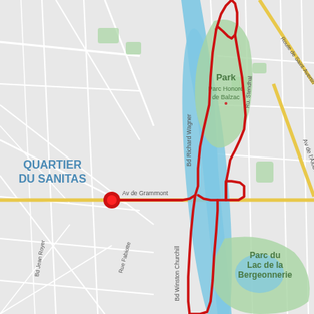[Figure (map): Street map of Tours, France showing QUARTIER DU SANITAS on the left, with a red route tracing a loop along the river (Cher), passing through Parc Honoré de Balzac and around Parc du Lac de la Bergeonnerie. A red dot marks the start/end point on Av de Grammont. Key streets labeled include Bd Richard Wagner, Bd Winston Churchill, Av de Grammont, Bd Jean Royer, Rue Fabiotte, Route de Saint-Avertin, Av de l'Alouette, Rue Stendhal.]